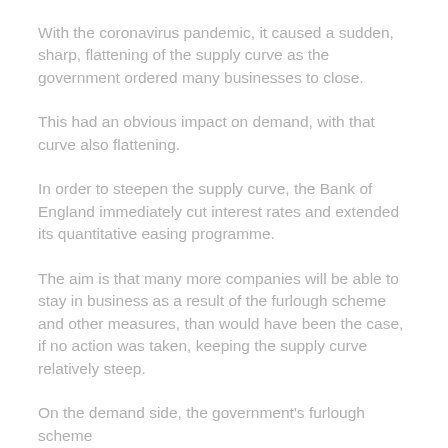With the coronavirus pandemic, it caused a sudden, sharp, flattening of the supply curve as the government ordered many businesses to close.
This had an obvious impact on demand, with that curve also flattening.
In order to steepen the supply curve, the Bank of England immediately cut interest rates and extended its quantitative easing programme.
The aim is that many more companies will be able to stay in business as a result of the furlough scheme and other measures, than would have been the case, if no action was taken, keeping the supply curve relatively steep.
On the demand side, the government's furlough scheme